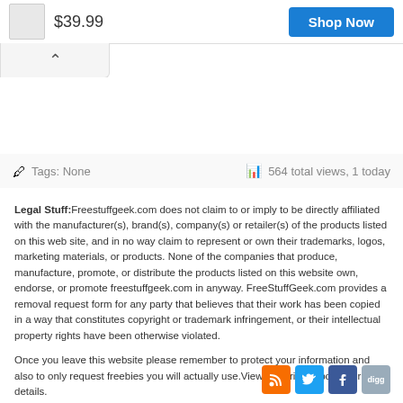$39.99
Shop Now
Tags: None
564 total views, 1 today
Legal Stuff: Freestuffgeek.com does not claim to or imply to be directly affiliated with the manufacturer(s), brand(s), company(s) or retailer(s) of the products listed on this web site, and in no way claim to represent or own their trademarks, logos, marketing materials, or products. None of the companies that produce, manufacture, promote, or distribute the products listed on this website own, endorse, or promote freestuffgeek.com in anyway. FreeStuffGeek.com provides a removal request form for any party that believes that their work has been copied in a way that constitutes copyright or trademark infringement, or their intellectual property rights have been otherwise violated.
Once you leave this website please remember to protect your information and also to only request freebies you will actually use. View our privacy policy for more details.